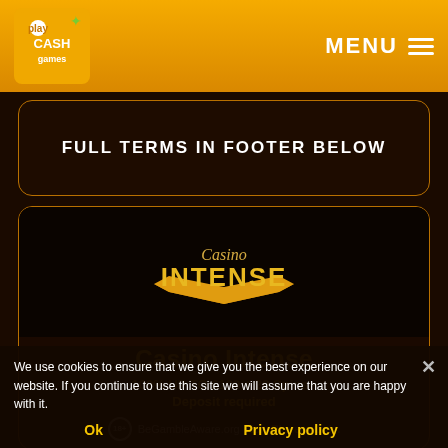play CASH games   MENU
FULL TERMS IN FOOTER BELOW
[Figure (logo): Casino Intense logo — stylized text 'Casino INTENSE' with a golden arrow/wing under it on a dark background]
Casino Intense
100% UP TO £100 + 20 Spins - Deposit required
18+ BeGambleAware.org New Players Only.
We use cookies to ensure that we give you the best experience on our website. If you continue to use this site we will assume that you are happy with it.
Ok   Privacy policy
20 FREE SPINS NO DEPOSIT REQUIRED. Create a new